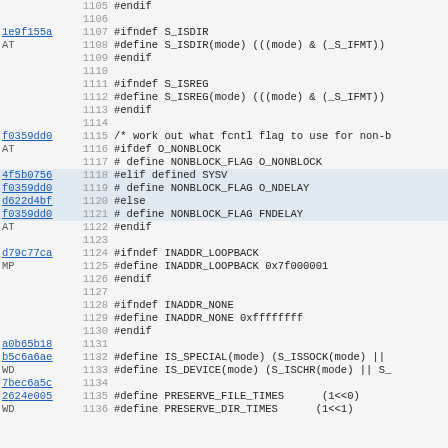[Figure (screenshot): Source code viewer showing C preprocessor directives, lines 1105-1136, with commit hashes and line numbers in left margin. Code includes S_ISDIR, S_ISREG, NONBLOCK_FLAG, INADDR_LOOPBACK, INADDR_NONE, IS_SPECIAL, IS_DEVICE, and PRESERVE_FILE_TIMES/DIR_TIMES macro definitions.]